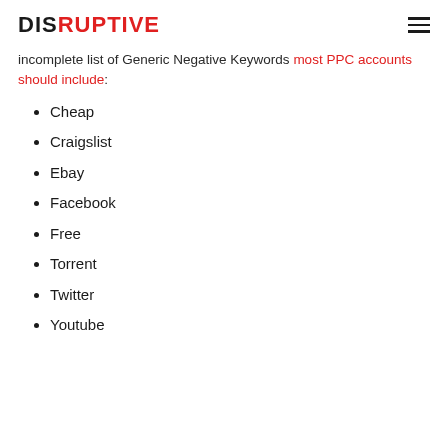DISRUPTIVE
incomplete list of Generic Negative Keywords most PPC accounts should include:
Cheap
Craigslist
Ebay
Facebook
Free
Torrent
Twitter
Youtube